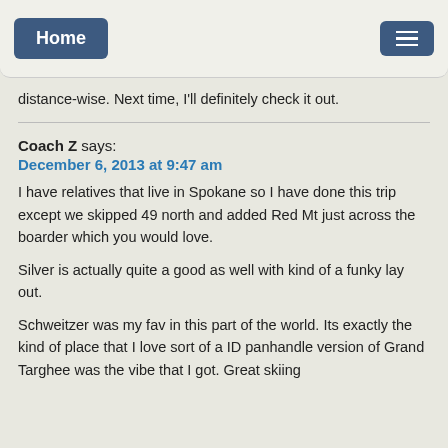Home | [menu]
distance-wise. Next time, I'll definitely check it out.
Coach Z says:
December 6, 2013 at 9:47 am
I have relatives that live in Spokane so I have done this trip except we skipped 49 north and added Red Mt just across the boarder which you would love.

Silver is actually quite a good as well with kind of a funky lay out.

Schweitzer was my fav in this part of the world. Its exactly the kind of place that I love sort of a ID panhandle version of Grand Targhee was the vibe that I got. Great skiing